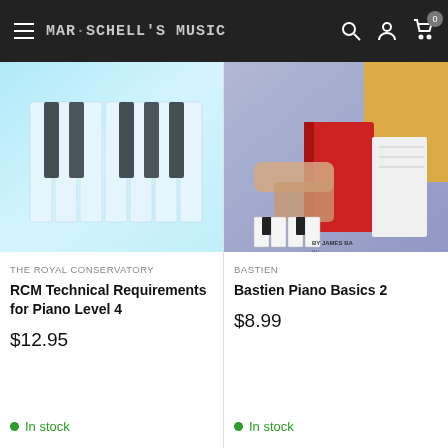Mar·Schell's Music
[Figure (photo): Close-up photo of piano keys with blue-white lighting effect]
THE ROYAL CONSERVATORY
RCM Technical Requirements for Piano Level 4
$12.95
In stock
[Figure (photo): Bastien Piano Basics book cover with person playing piano, red and yellow colors, 'By James Ba...' text visible]
BASTIEN
Bastien Piano Basics 2
$8.99
In stock